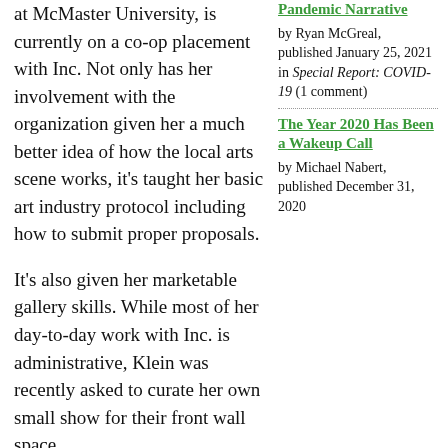at McMaster University, is currently on a co-op placement with Inc. Not only has her involvement with the organization given her a much better idea of how the local arts scene works, it's taught her basic art industry protocol including how to submit proper proposals.
It's also given her marketable gallery skills. While most of her day-to-day work with Inc. is administrative, Klein was recently asked to curate her own small show for their front wall space.
From the West was a collection of experimental art pieces by her fellow McMaster classmates. "Inc. affords artists
Pandemic Narrative by Ryan McGreal, published January 25, 2021 in Special Report: COVID-19 (1 comment)
The Year 2020 Has Been a Wakeup Call by Michael Nabert, published December 31, 2020